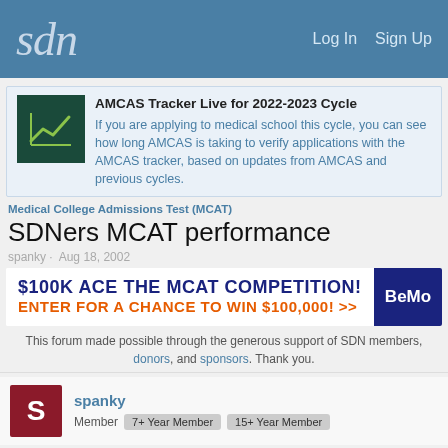sdn  Log In  Sign Up
[Figure (infographic): AMCAS Tracker banner with teal chart icon and text about tracker live for 2022-2023 cycle]
AMCAS Tracker Live for 2022-2023 Cycle
If you are applying to medical school this cycle, you can see how long AMCAS is taking to verify applications with the AMCAS tracker, based on updates from AMCAS and previous cycles.
Medical College Admissions Test (MCAT)
SDNers MCAT performance
spanky · Aug 18, 2002
[Figure (infographic): $100K ACE THE MCAT COMPETITION! ENTER FOR A CHANCE TO WIN $100,000! >> with BeMo logo on dark blue square]
This forum made possible through the generous support of SDN members, donors, and sponsors. Thank you.
spanky
Member  7+ Year Member  15+ Year Member